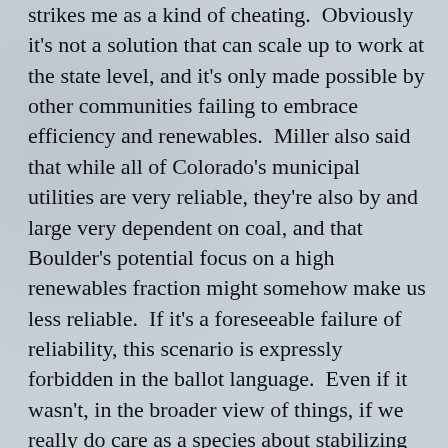strikes me as a kind of cheating.  Obviously it's not a solution that can scale up to work at the state level, and it's only made possible by other communities failing to embrace efficiency and renewables.  Miller also said that while all of Colorado's municipal utilities are very reliable, they're also by and large very dependent on coal, and that Boulder's potential focus on a high renewables fraction might somehow make us less reliable.  If it's a foreseeable failure of reliability, this scenario is expressly forbidden in the ballot language.  Even if it wasn't, in the broader view of things, if we really do care as a species about stabilizing the Earth's climate without reverting to a pre-industrial society, then somebody somewhere is going to have to figure out how to make renewable power also reliable power, and it's not as if we're going to cut ourselves off from the rest of the grid in five years and suddenly jump to 100% wind and solar in a leap of blind faith... silly YouTube videos